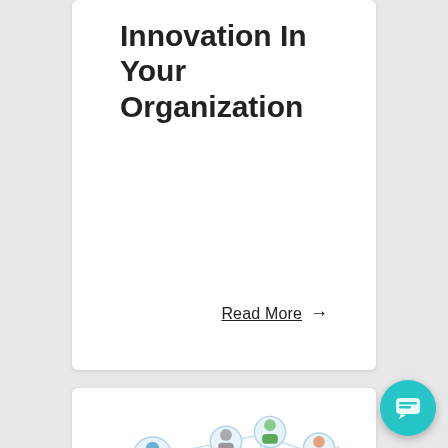Innovation In Your Organization
Read More →
[Figure (infographic): Network diagram showing multiple person avatars connected by lines, representing an organizational network. Below the network are three colored bars (blue, yellow, red) and a section label 'THE CHALLENGE'.]
THE CHALLENGE